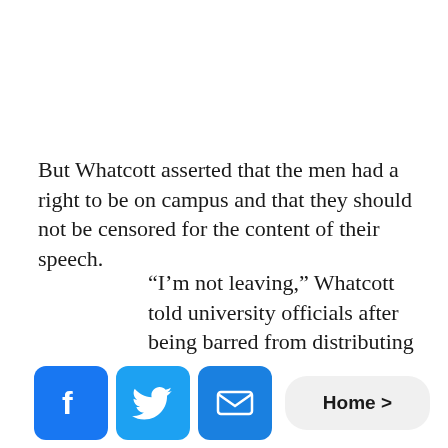But Whatcott asserted that the men had a right to be on campus and that they should not be censored for the content of their speech.
“I’m not leaving,” Whatcott told university officials after being barred from distributing the literature, according to reports. “You guys are intolerant and yourselves for shutting down
[Figure (other): Social share buttons: Facebook, Twitter, Email icons, and a Home navigation button]